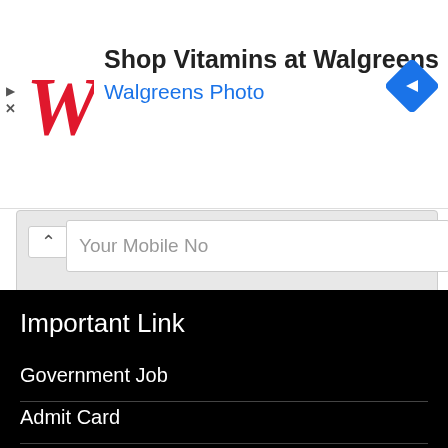[Figure (screenshot): Walgreens advertisement banner with logo, text 'Shop Vitamins at Walgreens', 'Walgreens Photo', and blue navigation diamond icon]
Your Mobile No
Post Comment
Important Link
Government Job
Admit Card